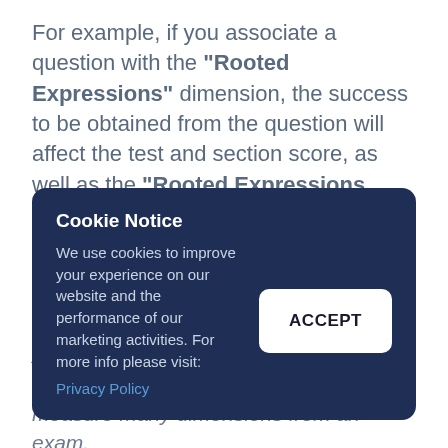For example, if you associate a question with the "Rooted Expressions" dimension, the success to be obtained from the question will affect the test and section score, as well as the "Rooted Expressions Dimension Success Score".
As a result of associating the questions with the dimensions, it is possible to measure many dimensions from an exam.
Cookie Notice
We use cookies to improve your experience on our website and the performance of our marketing activities. For more info please visit:
Privacy Policy
ACCEPT